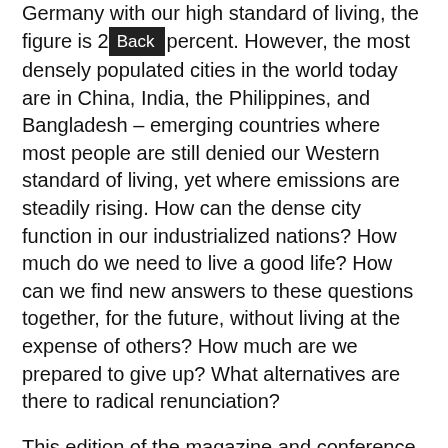Germany with our high standard of living, the figure is 2[Back]percent. However, the most densely populated cities in the world today are in China, India, the Philippines, and Bangladesh – emerging countries where most people are still denied our Western standard of living, yet where emissions are steadily rising. How can the dense city function in our industrialized nations? How much do we need to live a good life? How can we find new answers to these questions together, for the future, without living at the expense of others? How much are we prepared to give up? What alternatives are there to radical renunciation?
This edition of the magazine and conference hone in on the dense city by looking at three main topics: structural density (including inner-city redensification, preservation of existing structures, high-rise buildings); digitalization (smart city, big data, data centres, energy consumption); and mobility (individual mobility, infrastructure, networking).
Fast Forward no.2 Dense City was published at the opening of the Architecture Matters Conference, May 19-20 2022. Buy now for 24 EUR at our publisher Ruby